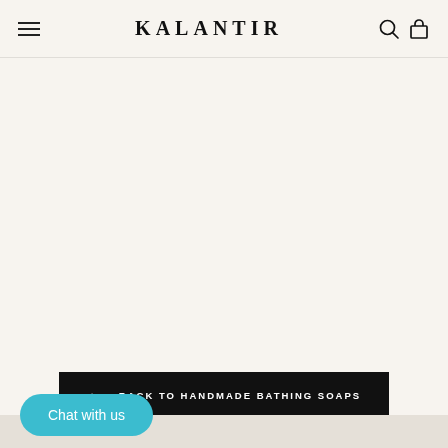KALANTIR
BACK TO HANDMADE BATHING SOAPS
Chat with us